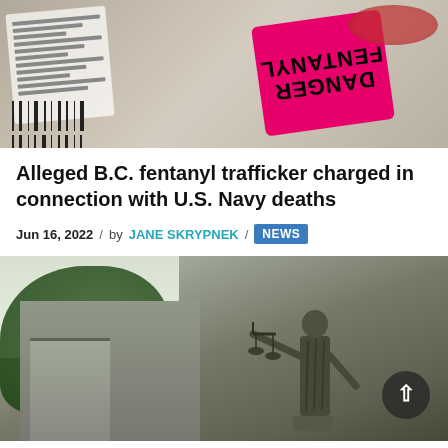[Figure (photo): Close-up photo of a pink/magenta label reading 'DANGER FENTANYL' (text oriented upside-down) placed on what appears to be a bag of food items, with a receipt or label visible in the background.]
Alleged B.C. fentanyl trafficker charged in connection with U.S. Navy deaths
Jun 16, 2022 / by JANE SKRYPNEK / NEWS
[Figure (photo): Photo of a bronze Lady Justice statue holding scales, mounted on the exterior of a courthouse building. Green trees visible in the background. A circular scroll-to-top button is visible in the lower right corner.]